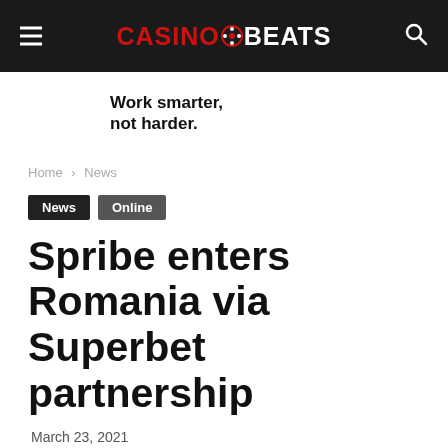CASINOBEATS
Work smarter, not harder.
Home › News
News  Online
Spribe enters Romania via Superbet partnership
March 23, 2021